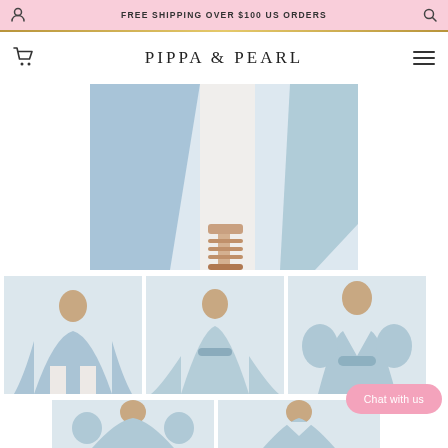FREE SHIPPING OVER $100 US ORDERS
[Figure (logo): Pippa & Pearl brand logo in serif font]
[Figure (photo): Main product photo: lower half of woman wearing light blue wrap dress over white jeans with strappy heeled sandals]
[Figure (photo): Thumbnail 1: Full body photo of woman smiling in light blue wrap dress over white jeans]
[Figure (photo): Thumbnail 2: Back view of woman in light blue wrap dress]
[Figure (photo): Thumbnail 3: Close-up front view of woman in light blue wrap dress]
[Figure (photo): Thumbnail 4: partial view of woman in light blue wrap dress]
[Figure (photo): Thumbnail 5: partial view of woman in light blue wrap dress close-up]
Chat with us